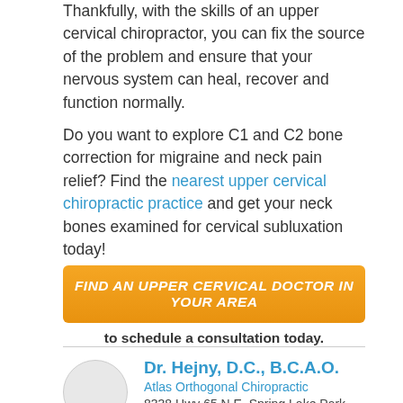Thankfully, with the skills of an upper cervical chiropractor, you can fix the source of the problem and ensure that your nervous system can heal, recover and function normally.
Do you want to explore C1 and C2 bone correction for migraine and neck pain relief? Find the nearest upper cervical chiropractic practice and get your neck bones examined for cervical subluxation today!
[Figure (other): Orange call-to-action button reading FIND AN UPPER CERVICAL DOCTOR IN YOUR AREA]
to schedule a consultation today.
Dr. Hejny, D.C., B.C.A.O.
Atlas Orthogonal Chiropractic
8338 Hwy 65 N.E. Spring Lake Park,